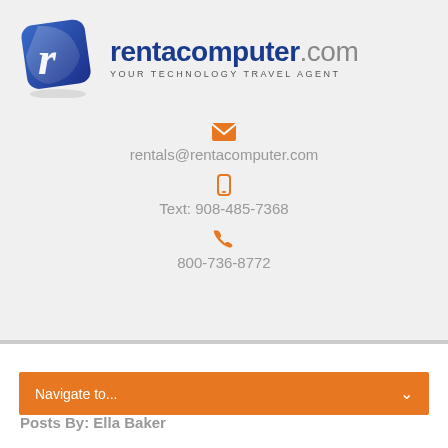[Figure (logo): rentacomputer.com logo with blue stylized R icon and tagline YOUR TECHNOLOGY TRAVEL AGENT]
rentals@rentacomputer.com
Text: 908-485-7368
800-736-8772
Navigate to...
Posts By: Ella Baker